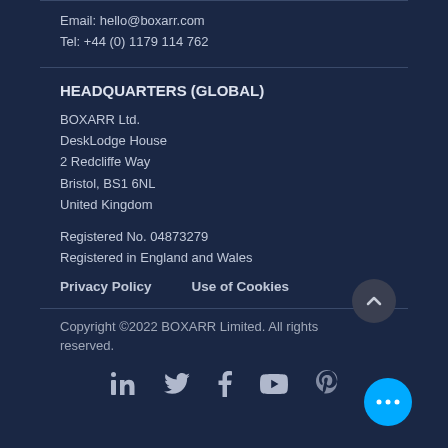Email: hello@boxarr.com
Tel: +44 (0) 1179 114 762
HEADQUARTERS (GLOBAL)
BOXARR Ltd.
DeskLodge House
2 Redcliffe Way
Bristol, BS1 6NL
United Kingdom
Registered No. 04873279
Registered in England and Wales
Privacy Policy    Use of Cookies
Copyright ©2022 BOXARR Limited. All rights reserved.
[Figure (infographic): Social media icons: LinkedIn, Twitter, Facebook, YouTube, Pinterest]